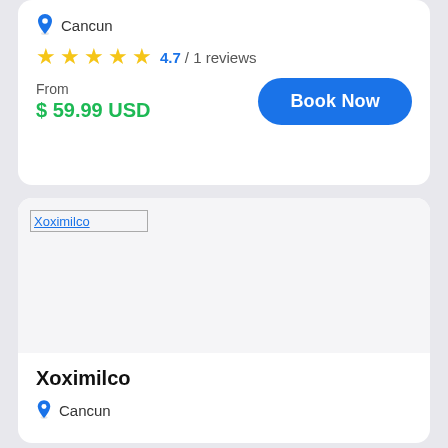Cancun
4.7 / 1 reviews
From
$ 59.99 USD
Book Now
[Figure (photo): Broken image placeholder labeled Xoximilco]
Xoximilco
Cancun